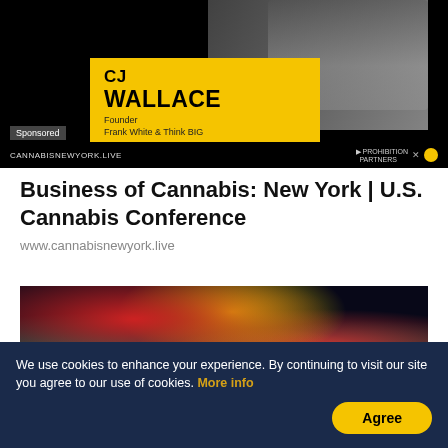[Figure (photo): Sponsored advertisement banner for Cannabis New York conference featuring CJ Wallace, Founder Frank White & Think BIG, with yellow overlay box and CANNABISNEWYORK.LIVE branding]
Business of Cannabis: New York | U.S. Cannabis Conference
www.cannabisnewyork.live
[Figure (photo): Microscopy/science image showing colorful fluorescent particles or cells on dark background in red, yellow, teal, and green colors]
We use cookies to enhance your experience. By continuing to visit our site you agree to our use of cookies. More info